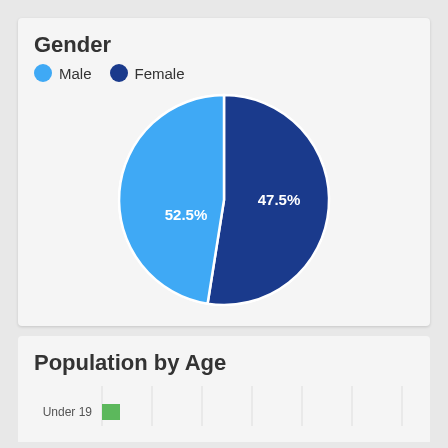Gender
[Figure (pie-chart): Gender]
Population by Age